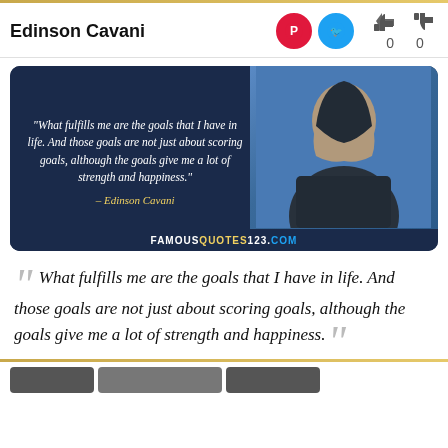Edinson Cavani
[Figure (photo): Quote image card with dark blue background showing italic white text of the Cavani quote on the left, a photo of Edinson Cavani on the right, and FAMOUSQUOTES123.COM watermark at the bottom]
““ What fulfills me are the goals that I have in life. And those goals are not just about scoring goals, although the goals give me a lot of strength and happiness. ””